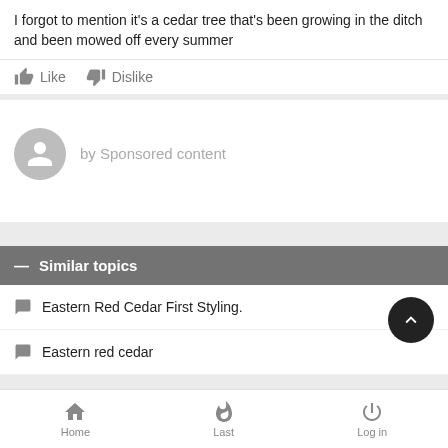I forgot to mention it's a cedar tree that's been growing in the ditch and been mowed off every summer
Like  Dislike
by Sponsored content
Similar topics
Eastern Red Cedar First Styling.
Eastern red cedar
Home  Last  Log in